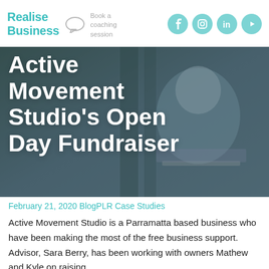Realise Business | Book a coaching session
[Figure (photo): Man smiling and talking on phone at a desk with laptop, background shows office/cafe with plants. Hero image for blog article. Teal/dark overlay applied.]
Active Movement Studio's Open Day Fundraiser
February 21, 2020 BlogPLR Case Studies
Active Movement Studio is a Parramatta based business who have been making the most of the free business support. Advisor, Sara Berry, has been working with owners Mathew and Kyle on raising